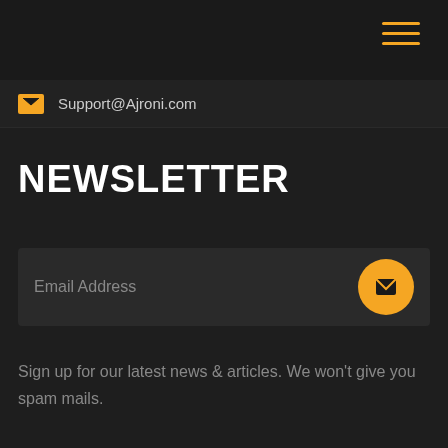Support@Ajroni.com
NEWSLETTER
[Figure (other): Email address input field with placeholder text 'Email Address' and an orange circular send button with envelope icon]
Sign up for our latest news & articles. We won't give you spam mails.